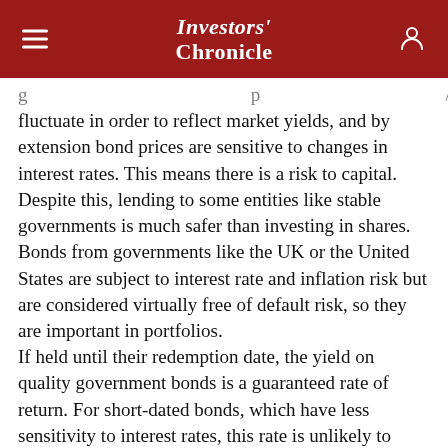Investors' Chronicle
fluctuate in order to reflect market yields, and by extension bond prices are sensitive to changes in interest rates. This means there is a risk to capital. Despite this, lending to some entities like stable governments is much safer than investing in shares. Bonds from governments like the UK or the United States are subject to interest rate and inflation risk but are considered virtually free of default risk, so they are important in portfolios. If held until their redemption date, the yield on quality government bonds is a guaranteed rate of return. For short-dated bonds, which have less sensitivity to interest rates, this rate is unlikely to change and is therefore risk-free. This concept is central to the work of Professor Sharpe (see box) as it means investors know the reward